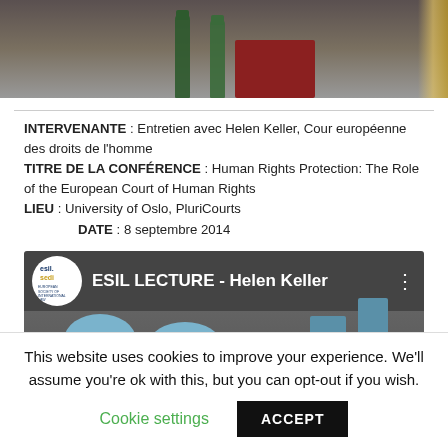[Figure (photo): Top photo showing a person at a table with two green bottles visible, partial view of a formal setting.]
INTERVENANTE : Entretien avec Helen Keller, Cour européenne des droits de l'homme
TITRE DE LA CONFÉRENCE : Human Rights Protection: The Role of the European Court of Human Rights
LIEU : University of Oslo, PluriCourts
DATE : 8 septembre 2014
[Figure (screenshot): YouTube video thumbnail showing ESIL SEDI logo and title 'ESIL LECTURE - Helen Keller' with bar chart graphic elements in the lower portion.]
This website uses cookies to improve your experience. We'll assume you're ok with this, but you can opt-out if you wish.
Cookie settings    ACCEPT